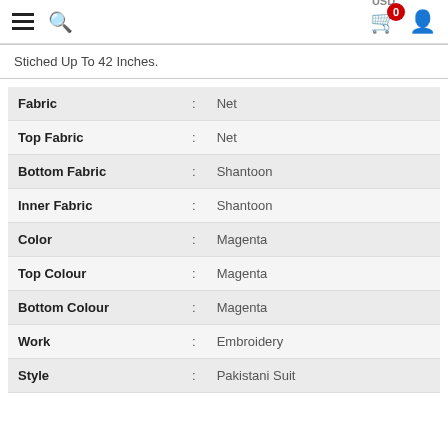Menu | Search | USD | Cart (0) | User
Stiched Up To 42 Inches.
| Attribute |  | Value |
| --- | --- | --- |
| Fabric | : | Net |
| Top Fabric | : | Net |
| Bottom Fabric | : | Shantoon |
| Inner Fabric | : | Shantoon |
| Color | : | Magenta |
| Top Colour | : | Magenta |
| Bottom Colour | : | Magenta |
| Work | : | Embroidery |
| Style | : | Pakistani Suit |